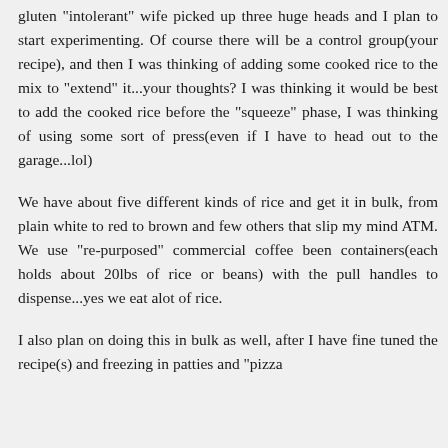gluten "intolerant" wife picked up three huge heads and I plan to start experimenting. Of course there will be a control group(your recipe), and then I was thinking of adding some cooked rice to the mix to "extend" it...your thoughts? I was thinking it would be best to add the cooked rice before the "squeeze" phase, I was thinking of using some sort of press(even if I have to head out to the garage...lol)
We have about five different kinds of rice and get it in bulk, from plain white to red to brown and few others that slip my mind ATM. We use "re-purposed" commercial coffee been containers(each holds about 20lbs of rice or beans) with the pull handles to dispense...yes we eat alot of rice.
I also plan on doing this in bulk as well, after I have fine tuned the recipe(s) and freezing in patties and "pizza